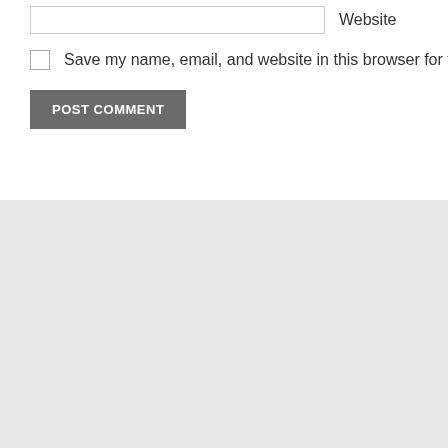Website
Save my name, email, and website in this browser for the next time I
POST COMMENT